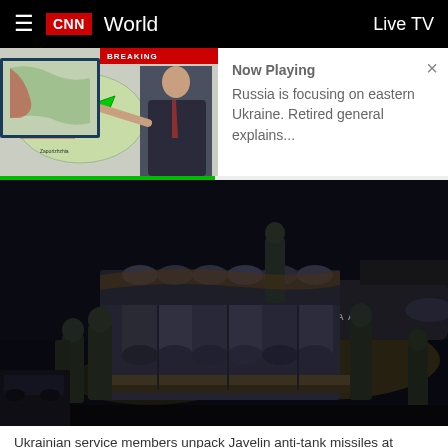CNN World   Live TV
[Figure (screenshot): CNN video thumbnail showing retired general explaining map of eastern Ukraine with BREAKING banner]
Now Playing
Russia is focusing on eastern Ukraine. Retired general explains...
[Figure (photo): Ukrainian service members unpack Javelin anti-tank missiles at Boryspil airport at night with Kalitta Air cargo plane in background]
Ukrainian service members unpack Javelin anti-tank missiles at Boryspil...